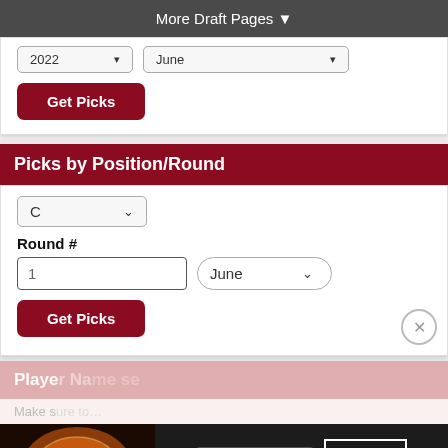More Draft Pages ▼
[Figure (screenshot): Dropdown row showing '2022' and 'June' select boxes, partially cropped at top]
[Figure (screenshot): Get Picks red button]
Picks by Position/Round
[Figure (screenshot): Position dropdown showing 'C', Round # label, input field with '1', June dropdown, Get Picks button, and close X button]
[Figure (screenshot): Player Name section partially visible with seamless.com advertisement banner overlay]